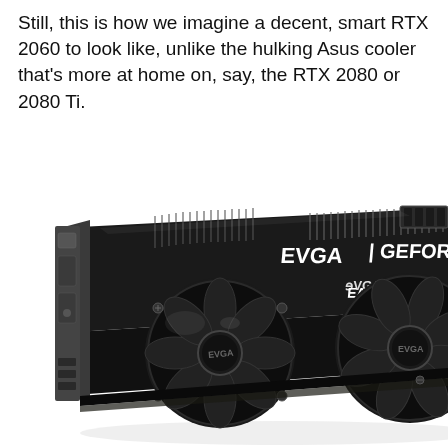Still, this is how we imagine a decent, smart RTX 2060 to look like, unlike the hulking Asus cooler that's more at home on, say, the RTX 2080 or 2080 Ti.
[Figure (photo): Photo of an EVGA GeForce RTX graphics card with dual fans, black cooler shroud with EVGA and GeForce branding on the top edge, viewed from a low angle showing the dual axial fans and heatsink fins.]